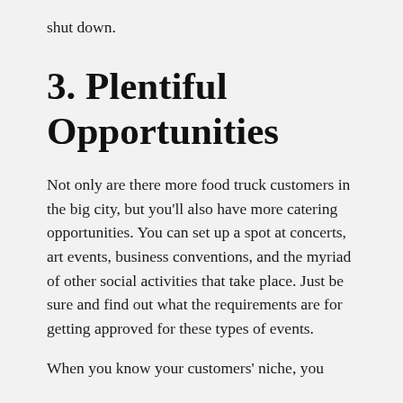shut down.
3. Plentiful Opportunities
Not only are there more food truck customers in the big city, but you'll also have more catering opportunities. You can set up a spot at concerts, art events, business conventions, and the myriad of other social activities that take place. Just be sure and find out what the requirements are for getting approved for these types of events.
When you know your customers' niche, you